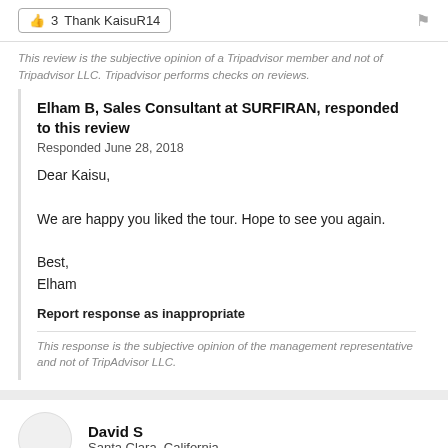👍 3  Thank KaisuR14
This review is the subjective opinion of a Tripadvisor member and not of Tripadvisor LLC. Tripadvisor performs checks on reviews.
Elham B, Sales Consultant at SURFIRAN, responded to this review
Responded June 28, 2018

Dear Kaisu,

We are happy you liked the tour. Hope to see you again.

Best,
Elham

Report response as inappropriate
This response is the subjective opinion of the management representative and not of TripAdvisor LLC.
David S
Santa Clara, California
Reviewed May 14, 2018